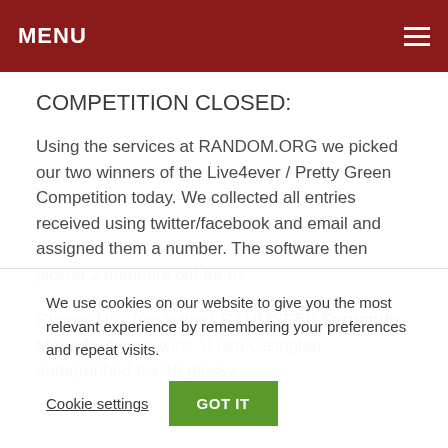MENU
COMPETITION CLOSED:
Using the services at RANDOM.ORG we picked our two winners of the Live4ever / Pretty Green Competition today. We collected all entries received using twitter/facebook and email and assigned them a number. The software then picked 2 numbers out for us.
Runner Up : (via twitter) RAMMSFER Fernando Macedo Ariaza wins 1Liam Gallagher autographed 8 x 10 glossy
We use cookies on our website to give you the most relevant experience by remembering your preferences and repeat visits.
Cookie settings
GOT IT